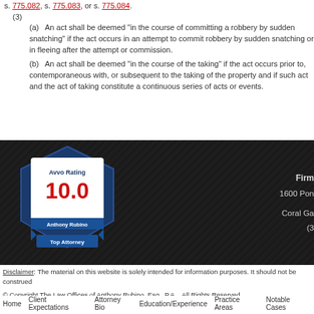s. 775.082, s. 775.083, or s. 775.084.
(3)
(a)   An act shall be deemed "in the course of committing a robbery by sudden snatching" if the act occurs in an attempt to commit robbery by sudden snatching or in fleeing after the attempt or commission.
(b)   An act shall be deemed "in the course of the taking" if the act occurs prior to, contemporaneous with, or subsequent to the taking of the property and if such act and the act of taking constitute a continuous series of acts or events.
[Figure (logo): Avvo Rating badge showing 10.0 for Anthony Rubino, Top Attorney]
Firm
1600 Pon
Coral Ga
(3
Disclaimer: The material on this website is solely intended for information purposes. It should not be construed
© Copyright The Law Offices of Anthony Rubino, Esq., P.A. . All Rights Reserved.
Home   Client Expectations   Attorney Bio   Education/Experience   Practice Areas   Notable Cases